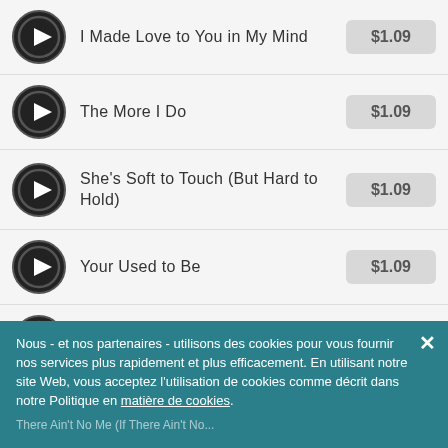I Made Love to You in My Mind — $1.09
The More I Do — $1.09
She's Soft to Touch (But Hard to Hold) — $1.09
Your Used to Be — $1.09
Come On in and Let Me Love You — $1.09
Whole Lotta Love On the Line — $1.09
There Ain't No Me (If There Ain't No...
Nous - et nos partenaires - utilisons des cookies pour vous fournir nos services plus rapidement et plus efficacement. En utilisant notre site Web, vous acceptez l'utilisation de cookies comme décrit dans notre Politique en matière de cookies.